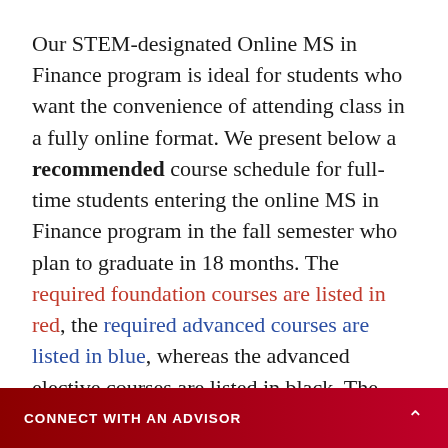Our STEM-designated Online MS in Finance program is ideal for students who want the convenience of attending class in a fully online format. We present below a recommended course schedule for full-time students entering the online MS in Finance program in the fall semester who plan to graduate in 18 months. The required foundation courses are listed in red, the required advanced courses are listed in blue, whereas the advanced elective courses are listed in black. The course schedule below represents the optimal sequencing of finance courses by ensuring that students complete the necessary prerequisite courses before taking
CONNECT WITH AN ADVISOR